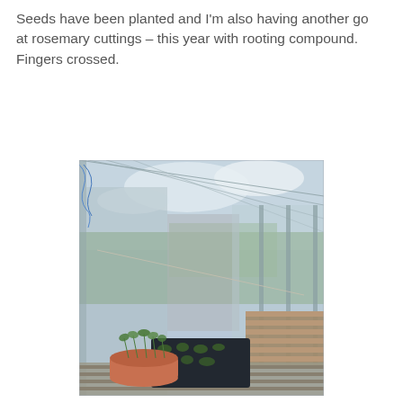Seeds have been planted and I'm also having another go at rosemary cuttings – this year with rooting compound. Fingers crossed.
[Figure (photo): Interior of a greenhouse with glass walls and roof panels, showing blue hose at top left, a rope strung across the structure, a wooden slatted bench on the right, and on a lower surface: a dark seed tray with seedlings and a terracotta pot with small green plants. Through the glass walls, green countryside and sky with clouds are visible.]